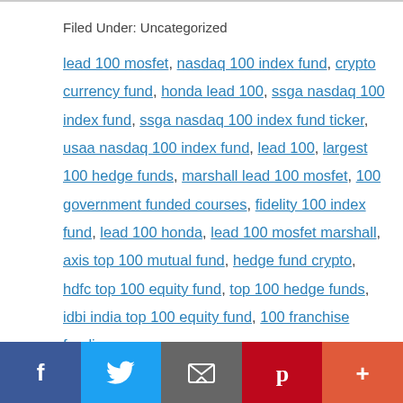Filed Under: Uncategorized
lead 100 mosfet, nasdaq 100 index fund, crypto currency fund, honda lead 100, ssga nasdaq 100 index fund, ssga nasdaq 100 index fund ticker, usaa nasdaq 100 index fund, lead 100, largest 100 hedge funds, marshall lead 100 mosfet, 100 government funded courses, fidelity 100 index fund, lead 100 honda, lead 100 mosfet marshall, axis top 100 mutual fund, hedge fund crypto, hdfc top 100 equity fund, top 100 hedge funds, idbi india top 100 equity fund, 100 franchise funding
Social share bar: Facebook, Twitter, Email, Pinterest, More